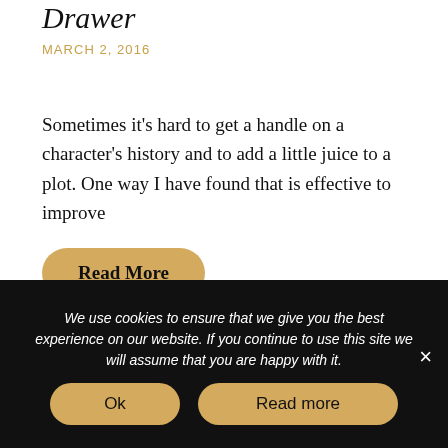Drawer
MARCH 2, 2016
Sometimes it’s hard to get a handle on a character’s history and to add a little juice to a plot. One way I have found that is effective to improve
Read More
1  2  3  Next Page »
We use cookies to ensure that we give you the best experience on our website. If you continue to use this site we will assume that you are happy with it.
Ok
Read more